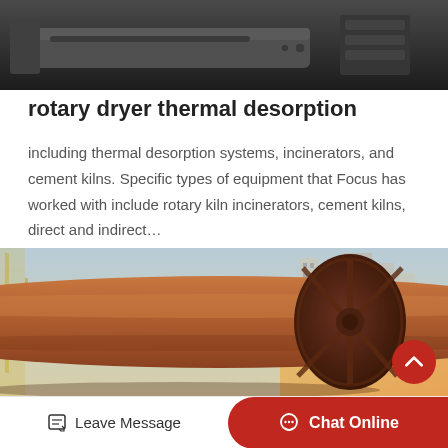[Figure (photo): Industrial machinery on a truck or platform, dark metal equipment shot from above/side, dark gray background]
rotary dryer thermal desorption
including thermal desorption systems, incinerators, and cement kilns. Specific types of equipment that Focus has worked with include rotary kiln incinerators, cement kilns, direct and indirect…
[Figure (photo): Large industrial rotary drum/dryer with rust-brown/copper color, circular end plate with radial spokes visible, industrial building in background, yellow crane visible on left, warm sunset gradient on right side]
Leave Message   Chat Online